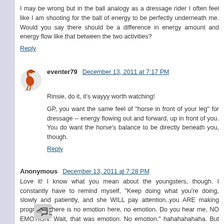I may be wrong but in the ball analogy as a dressage rider I often feel like I am shooting for the ball of energy to be perfectly underneath me. Would you say there should be a difference in energy amount and energy flow like that between the two activities?
Reply
eventer79   December 13, 2011 at 7:17 PM
Rinsie, do it, it's wayyy worth watching!
GP, you want the same feel of "horse in front of your leg" for dressage -- energy flowing out and forward, up in front of you. You do want the horse's balance to be directly beneath you, though.
Reply
Anonymous   December 13, 2011 at 7:28 PM
Love it! I know what you mean about the youngsters, though. I constantly have to remind myself, "Keep doing what you're doing, slowly and patiently, and she WILL pay attention..you ARE making progress. There is no emotion here, no emotion. Do you hear me, NO EMOTION. Wait, that was emotion. No emotion." hahahahahaha. But it's good for us!